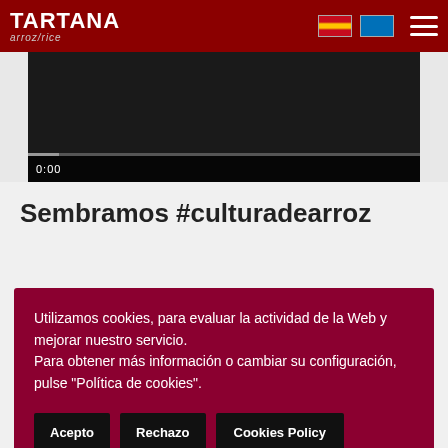TARTANA arroz/rice
[Figure (screenshot): Video player showing dark background with time 0:00 and a progress bar]
Sembramos #culturadearroz
Utilizamos cookies, para evaluar la actividad de la Web y mejorar nuestro servicio.
Para obtener más información o cambiar su configuración, pulse "Política de cookies".
Acepto
Rechazo
Cookies Policy